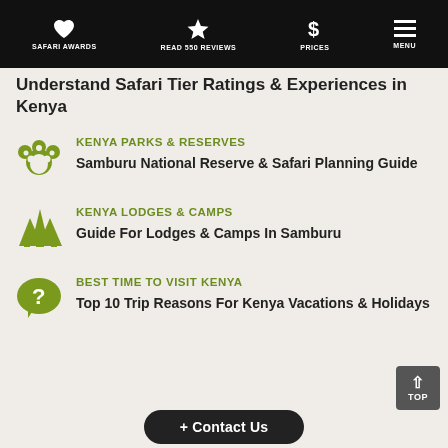SAFARI AWARDS | READ 550 REVIEWS | PRICES | MENU
Understand Safari Tier Ratings & Experiences in Kenya
KENYA PARKS & RESERVES
Samburu National Reserve & Safari Planning Guide
KENYA LODGES & CAMPS
Guide For Lodges & Camps In Samburu
BEST TIME TO VISIT KENYA
Top 10 Trip Reasons For Kenya Vacations & Holidays